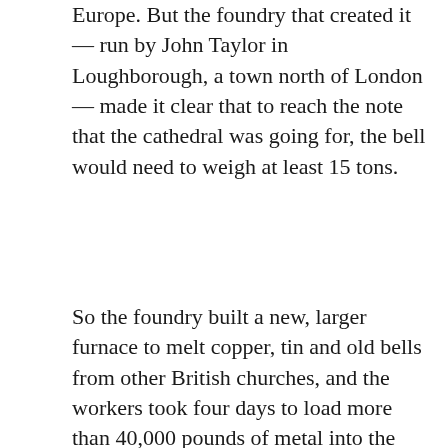Europe. But the foundry that created it — run by John Taylor in Loughborough, a town north of London — made it clear that to reach the note that the cathedral was going for, the bell would need to weigh at least 15 tons.
So the foundry built a new, larger furnace to melt copper, tin and old bells from other British churches, and the workers took four days to load more than 40,000 pounds of metal into the furnaces.
Workers at the John Taylor & Co. bell foundry in Loughborough, England, in April.Credit...Oli Scarff/Agence France-Presse — Getty Images When the bell was completed, Mr. Taylor invited locals and workers to a celebratory luncheon, and hundreds of visitors from miles away came